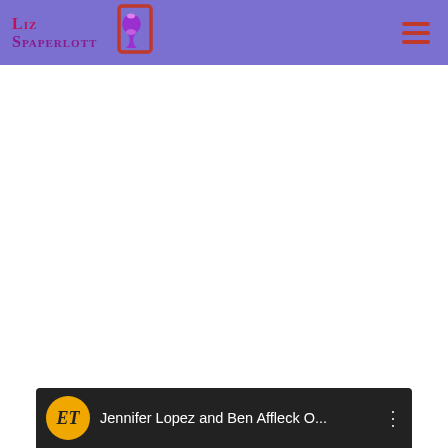[Figure (logo): Liz Spaperlott website logo with corset icon on purple navigation bar header]
[Figure (other): Ad placeholder box with rounded corners showing 'ad' text in light gray]
[Figure (screenshot): Video player bar at bottom showing ET logo and title 'Jennifer Lopez and Ben Affleck O...']